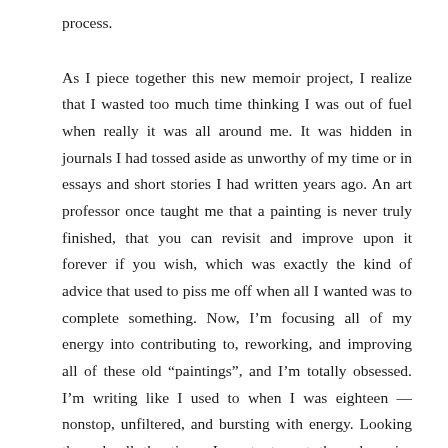process.
As I piece together this new memoir project, I realize that I wasted too much time thinking I was out of fuel when really it was all around me. It was hidden in journals I had tossed aside as unworthy of my time or in essays and short stories I had written years ago. An art professor once taught me that a painting is never truly finished, that you can revisit and improve upon it forever if you wish, which was exactly the kind of advice that used to piss me off when all I wanted was to complete something. Now, I'm focusing all of my energy into contributing to, reworking, and improving all of these old “paintings”, and I'm totally obsessed. I'm writing like I used to when I was eighteen — nonstop, unfiltered, and bursting with energy. Looking through all the times I wrote to get through major chapters in my life made me fall back in love with writing again. Only this time, the dedication and